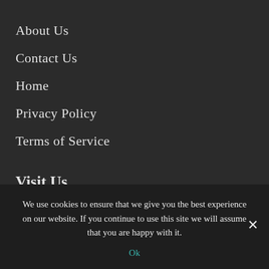About Us
Contact Us
Home
Privacy Policy
Terms of Service
Visit Us
Location : 640 W 26th St New York, NY 10001 USA
Email : info@cortesartfishingguide.org
We use cookies to ensure that we give you the best experience on our website. If you continue to use this site we will assume that you are happy with it.
Ok